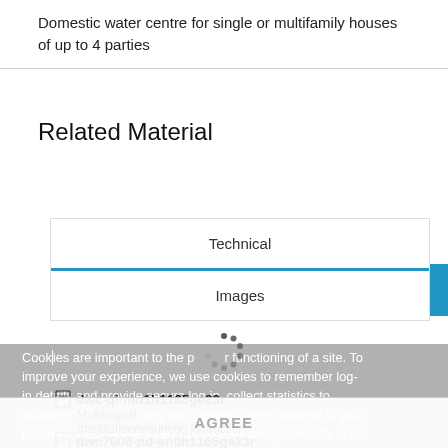Domestic water centre for single or multifamily houses of up to 4 parties
Related Material
Technical
Images
[Figure (screenshot): Loading spinner (dots arranged in a circle)]
Cookies are important to the proper functioning of a site. To improve your experience, we use cookies to remember log-in details and provide secure log-in, collect statistics to optimise site functionality, and deliver content tailored to your interests. Click Agree to accept cookies and go directly to the site.
dwc-qi-mu1h1165ge23r
Multilingual
Installation/mounting instruction
dwc7000-pd-en0h1165ge23r
English
Specification Sheet
AGREE